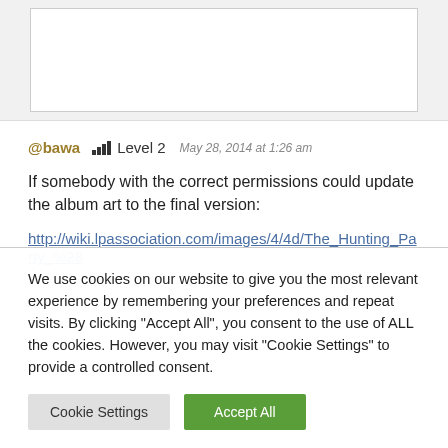[Figure (screenshot): Top section with white box on gray background, partially visible content]
@bawa  Level 2  May 28, 2014 at 1:26 am
If somebody with the correct permissions could update the album art to the final version:
http://wiki.lpassociation.com/images/4/4d/The_Hunting_Party_%28
We use cookies on our website to give you the most relevant experience by remembering your preferences and repeat visits. By clicking "Accept All", you consent to the use of ALL the cookies. However, you may visit "Cookie Settings" to provide a controlled consent.
Cookie Settings  Accept All